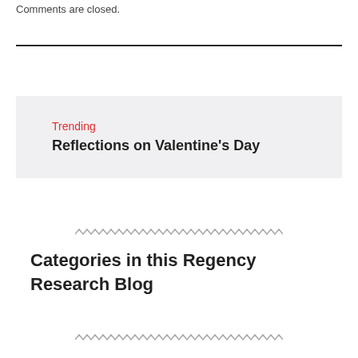Comments are closed.
Trending
Reflections on Valentine's Day
Categories in this Regency Research Blog